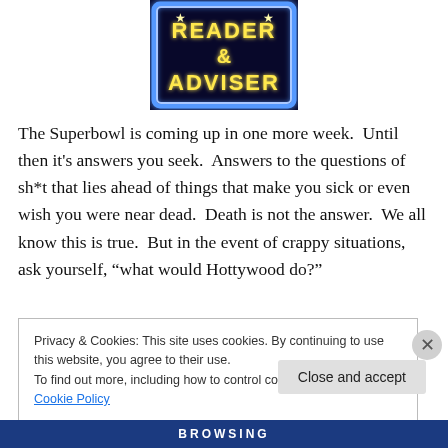[Figure (photo): Neon sign reading READER & ADVISER in yellow neon lettering on a blue neon background]
The Superbowl is coming up in one more week.  Until then it's answers you seek.  Answers to the questions of sh*t that lies ahead of things that make you sick or even wish you were near dead.  Death is not the answer.  We all know this is true.  But in the event of crappy situations, ask yourself, “what would Hottywood do?”
Privacy & Cookies: This site uses cookies. By continuing to use this website, you agree to their use.
To find out more, including how to control cookies, see here: Cookie Policy